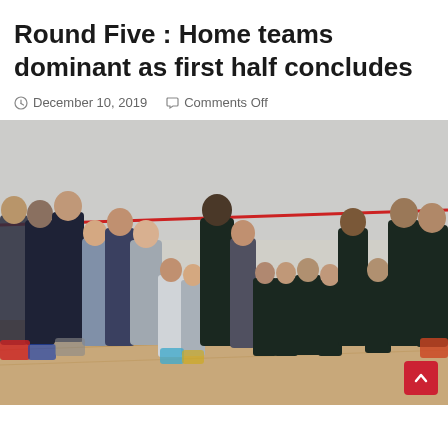Round Five : Home teams dominant as first half concludes
December 10, 2019   Comments Off
[Figure (photo): Group photo of squash teams (adults and children) standing together on an indoor squash court, with a red line visible on the back wall. Players are wearing dark sportswear.]